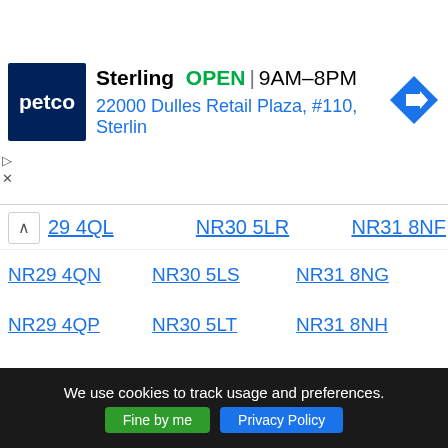[Figure (infographic): Petco advertisement banner showing store name Sterling, OPEN status, hours 9AM-8PM, address 22000 Dulles Retail Plaza, #110, Sterlin, and a navigation arrow icon]
29 4QL
NR30 5LR
NR31 8NF
NR29 4QN
NR30 5LS
NR31 8NG
NR29 4QP
NR30 5LT
NR31 8NH
NR29 4QQ
NR30 5LU
NR31 8NJ
NR29 4QR
NR30 5LW
NR31 8NL
NR29 4QS
NR30 5LX
NR31 8NN
NR29 4QT
NR30 5LY
NR31 8NP
NR29 4QU
NR30 5NE
NR31 8NQ
NR29 4QW
NR30 5NG
NR31 8NR
We use cookies to track usage and preferences. Fine by me  Privacy Policy